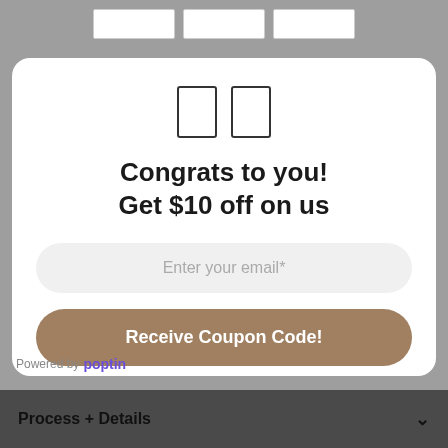[Figure (screenshot): Top navigation bar area with table cells visible at top of page]
[Figure (screenshot): Two rectangular icon boxes side by side (emoji/gift icons rendered as outlines)]
Congrats to you! Get $10 off on us
Enter your email*
Receive Coupon Code!
Powered by poptin
Process + Details